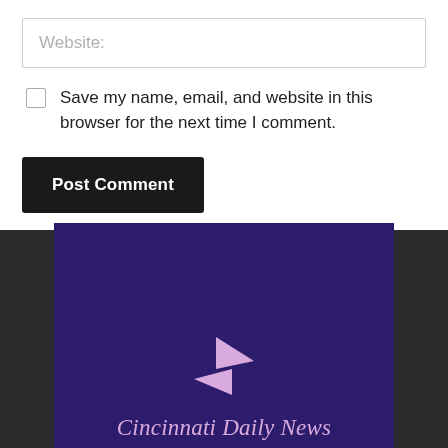Website:
Save my name, email, and website in this browser for the next time I comment.
Post Comment
[Figure (logo): Cincinnati Daily News logo on purple background with two triangular play-button shapes in pink/lavender and the text 'Cincinnati Daily News' in italic script]